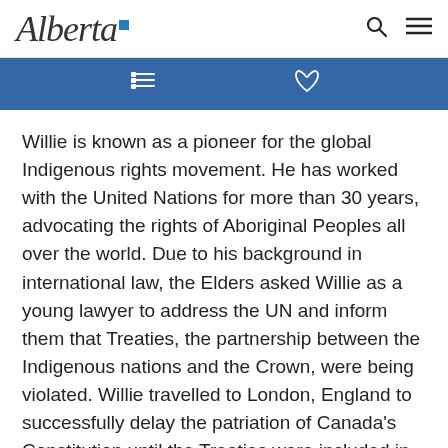Alberta [logo]
Willie is known as a pioneer for the global Indigenous rights movement. He has worked with the United Nations for more than 30 years, advocating the rights of Aboriginal Peoples all over the world. Due to his background in international law, the Elders asked Willie as a young lawyer to address the UN and inform them that Treaties, the partnership between the Indigenous nations and the Crown, were being violated. Willie travelled to London, England to successfully delay the patriation of Canada's Constitution until the Treaties were included in the Constitution.